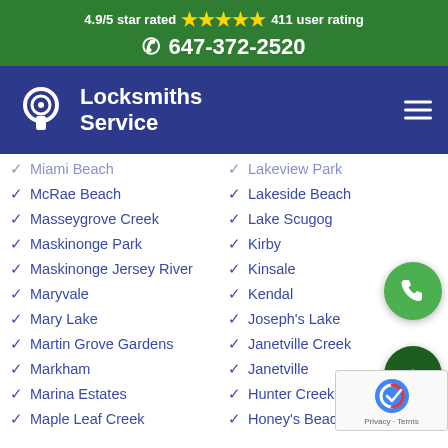4.9/5 star rated ★★★★★ 411 user rating
☎ 647-372-2520
[Figure (logo): Locksmiths Service logo with padlock icon and navigation bar]
Miami Beach
Lakeview Park
McRae Beach
Lakeside Beach
Masseygrove Creek
Lake Scugog
Maskinonge Park
Kirby
Maskinonge Jersey River
Kinsale
Maryvale
Kendal
Mary Lake
Joseph's Lake
Martin Grove Gardens
Janetville Creek
Markham
Janetville
Marina Estates
Hunter Creek
Maple Leaf Creek
Honey's Beach